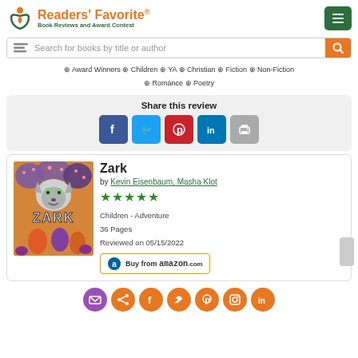[Figure (logo): Readers' Favorite logo with orange and green book icon and text 'Readers' Favorite Book Reviews and Award Contest']
Search for books by title or author
+ Award Winners + Children + YA + Christian + Fiction + Non-Fiction + Romance + Poetry
Share this review
[Figure (infographic): Social share buttons: Facebook, Twitter, Pinterest, LinkedIn, Print]
Zark
by Kevin Eisenbaum, Masha Klot
[Figure (illustration): Book cover of Zark showing animated monster characters with a wolf-like creature and children]
★★★★★
Children - Adventure
36 Pages
Reviewed on 05/15/2022
[Figure (infographic): Buy from amazon.com button]
[Figure (infographic): Bottom social icons: email, share, Facebook, Twitter, Pinterest, Instagram, LinkedIn]